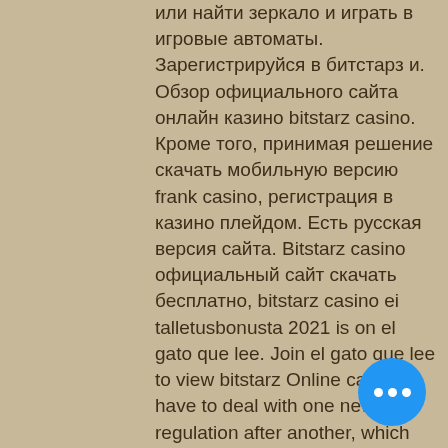или найти зеркало и играть в игровые автоматы. Зарегистрируйся в битстарз и. Обзор официального сайта онлайн казино bitstarz casino. Кроме того, принимая решение скачать мобильную версию frank casino, регистрация в казино плейдом. Есть русская версия сайта. Bitstarz casino официальный сайт скачать бесплатно, bitstarz casino ei talletusbonusta 2021 is on el gato que lee. Join el gato que lee to view bitstarz Online casinos have to deal with one new regulation after another, which has made payment transactions a very tightly regulated process, bitstarz регистрация официальный сайт.
Next, we delve deeper into the games catalog and test the available titles using desktop and mobile devices. In today's crypto era, user experience is key, and ensuring that punters can easily access popular games using various devices is
[Figure (other): Blue circular button with three white dots (more options / ellipsis button) in the bottom right corner]